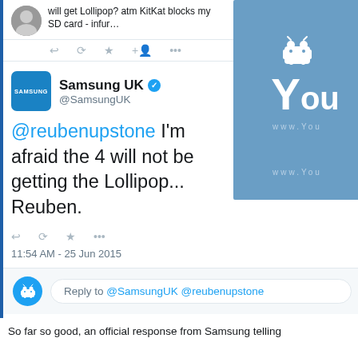[Figure (screenshot): Screenshot of a Twitter/social media exchange. Top portion shows a partial tweet mentioning 'will get Lollipop? atm KitKat blocks my SD card - infur...' with action icons. Main tweet shows Samsung UK (@SamsungUK) verified account responding '@reubenupstone I'm afraid the 4 will not be getting the Lollipop... Reuben.' timestamped 11:54 AM - 25 Jun 2015. A YouTube/Android logo overlay appears on the right. Below is a reply field reading 'Reply to @SamsungUK @reubenupstone'. An Android robot icon appears in a blue circle.]
So far so good, an official response from Samsung telling